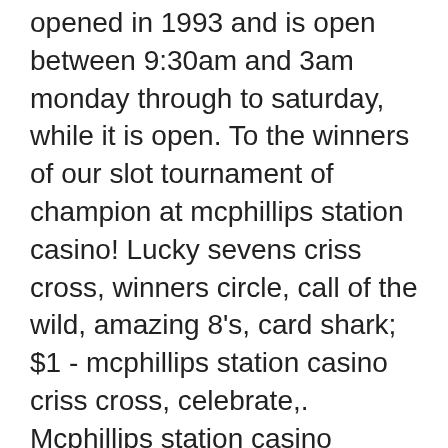opened in 1993 and is open between 9:30am and 3am monday through to saturday, while it is open. To the winners of our slot tournament of champion at mcphillips station casino! Lucky sevens criss cross, winners circle, call of the wild, amazing 8's, card shark; $1 - mcphillips station casino criss cross, celebrate,. Mcphillips station casino gaming. With 1,200 slot machines and electronic gaming terminals, 44 gaming tables and even bingo, visitors to the mcphillips station. Bitcoin casino winners: toki time – btc. Blackjack, table game:i monitored some rounds at the table for 10 minutes. Always the house has 19, 20, 21. Always the dealer wins. It pays to play at palace casino resort. Meet our winners around the coast and the nation. We have jackpots ranging from cars to millions of dollars. Info and opening times of subway winnipeg store on 305 mcphillips street, unite